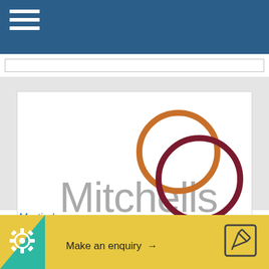[Figure (logo): Mitchells & Butlers company logo with two interlocking circles (orange and dark red/maroon) and grey text]
Martin Lyons
Make an enquiry →